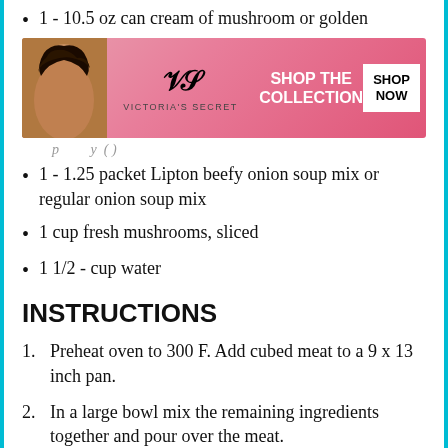1 - 10.5 oz can cream of mushroom or golden
[Figure (photo): Victoria's Secret advertisement banner with a woman model on the left side, VS logo and 'SHOP THE COLLECTION' text in center, and 'SHOP NOW' button on the right, pink/red gradient background]
1 - 1.25 packet Lipton beefy onion soup mix or regular onion soup mix
1 cup fresh mushrooms, sliced
1 1/2 - cup water
INSTRUCTIONS
Preheat oven to 300 F. Add cubed meat to a 9 x 13 inch pan.
In a large bowl mix the remaining ingredients together and pour over the meat.
Add mushrooms if using and stir to coat. Cover with foil tightly and bake for 2 1/2 - 3 hours.
Remember no peeking. When done remove foil